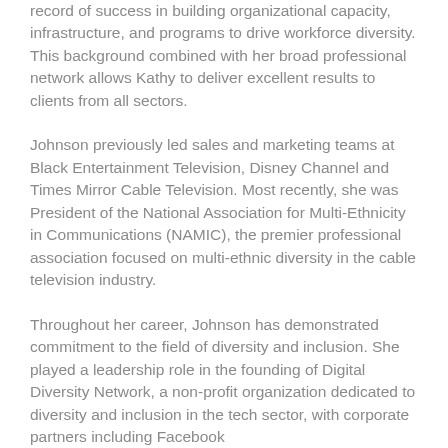record of success in building organizational capacity, infrastructure, and programs to drive workforce diversity. This background combined with her broad professional network allows Kathy to deliver excellent results to clients from all sectors.
Johnson previously led sales and marketing teams at Black Entertainment Television, Disney Channel and Times Mirror Cable Television. Most recently, she was President of the National Association for Multi-Ethnicity in Communications (NAMIC), the premier professional association focused on multi-ethnic diversity in the cable television industry.
Throughout her career, Johnson has demonstrated commitment to the field of diversity and inclusion. She played a leadership role in the founding of Digital Diversity Network, a non-profit organization dedicated to diversity and inclusion in the tech sector, with corporate partners including Facebook